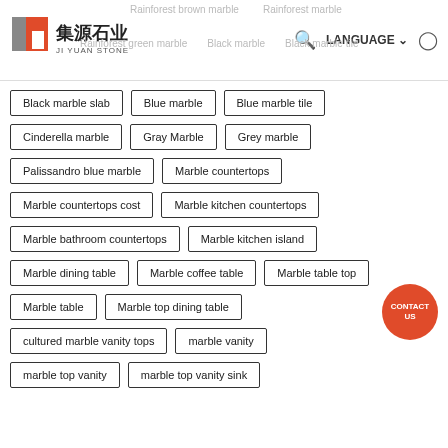[Figure (logo): Ji Yuan Stone company logo with red and gray graphic mark and Chinese/English text]
Black marble slab
Blue marble
Blue marble tile
Cinderella marble
Gray Marble
Grey marble
Palissandro blue marble
Marble countertops
Marble countertops cost
Marble kitchen countertops
Marble bathroom countertops
Marble kitchen island
Marble dining table
Marble coffee table
Marble table top
Marble table
Marble top dining table
cultured marble vanity tops
marble vanity
marble top vanity
marble top vanity sink